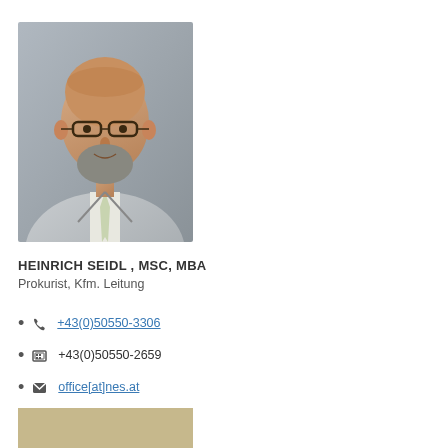[Figure (photo): Professional headshot of a bald man with glasses and a beard, wearing a light grey suit and green tie, smiling, against a grey background.]
HEINRICH SEIDL , MSC, MBA
Prokurist, Kfm. Leitung
+43(0)50550-3306 (phone)
+43(0)50550-2659 (fax)
office[at]nes.at (email)
[Figure (photo): Partial view of a second photo at the bottom of the page, mostly cropped.]